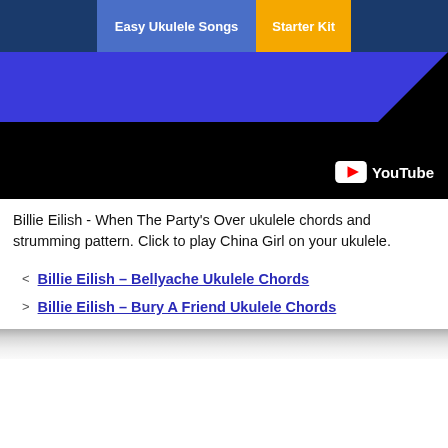Easy Ukulele Songs | Starter Kit
[Figure (screenshot): YouTube video thumbnail showing a blue and black background with YouTube logo in bottom right corner]
Billie Eilish - When The Party's Over ukulele chords and strumming pattern. Click to play China Girl on your ukulele.
< Billie Eilish – Bellyache Ukulele Chords
> Billie Eilish – Bury A Friend Ukulele Chords